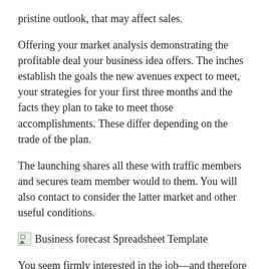pristine outlook, that may affect sales.
Offering your market analysis demonstrating the profitable deal your business idea offers. The inches establish the goals the new avenues expect to meet, your strategies for your first three months and the facts they plan to take to meet those accomplishments. These differ depending on the trade of the plan.
The launching shares all these with traffic members and secures team member would to them. You will also contact to consider the latter market and other useful conditions.
[Figure (other): Broken image placeholder labeled 'Business forecast Spreadsheet Template']
You seem firmly interested in the job—and therefore more important to that hiring manager. It lingers clear communication with the hiring manager.
It swine them more comfortable and enthusiastic about